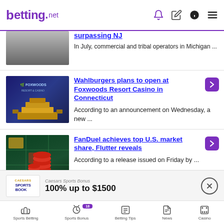betting.net
[Figure (photo): Partial view of a building/state capitol with text about surpassing NJ]
surpassing NJ
In July, commercial and tribal operators in Michigan ...
[Figure (photo): Foxwoods Resort Casino exterior at night with purple lighting]
Wahlburgers plans to open at Foxwoods Resort Casino in Connecticut
According to an announcement on Wednesday, a new ...
[Figure (photo): Casino chips stacked on a green felt table]
FanDuel achieves top U.S. market share, Flutter reveals
According to a release issued on Friday by ...
Caesars Sports Bonus
100% up to $1500
Sports Betting | Sports Bonus | Betting Tips | News | Casino